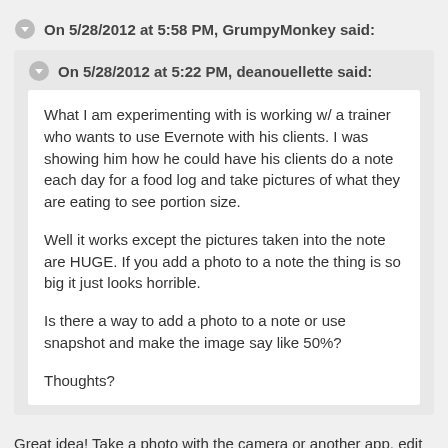On 5/28/2012 at 5:58 PM, GrumpyMonkey said:
On 5/28/2012 at 5:22 PM, deanouellette said:
What I am experimenting with is working w/ a trainer who wants to use Evernote with his clients. I was showing him how he could have his clients do a note each day for a food log and take pictures of what they are eating to see portion size.
Well it works except the pictures taken into the note are HUGE. If you add a photo to a note the thing is so big it just looks horrible.
Is there a way to add a photo to a note or use snapshot and make the image say like 50%?
Thoughts?
Great idea! Take a photo with the camera or another app, edit the